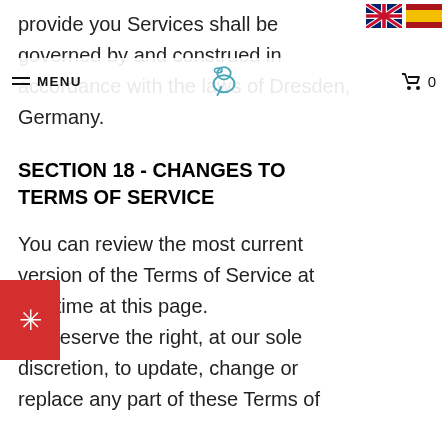MENU | [logo] | [cart] 0
[Figure (other): UK and Spain flag icons in top-right corner]
provide you Services shall be governed by and construed in accordance with the laws of Dresden, Germany.
SECTION 18 - CHANGES TO TERMS OF SERVICE
You can review the most current version of the Terms of Service at any time at this page.
We reserve the right, at our sole discretion, to update, change or replace any part of these Terms of